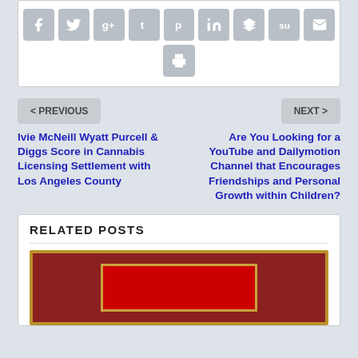[Figure (other): Social media share icons row: Facebook, Twitter, Google+, Tumblr, Pinterest, LinkedIn, Buffer, StumbleUpon, Email, and a print icon below]
< PREVIOUS
NEXT >
Ivie McNeill Wyatt Purcell & Diggs Score in Cannabis Licensing Settlement with Los Angeles County
Are You Looking for a YouTube and Dailymotion Channel that Encourages Friendships and Personal Growth within Children?
RELATED POSTS
[Figure (photo): A framed plaque or award with a red background and gold border]